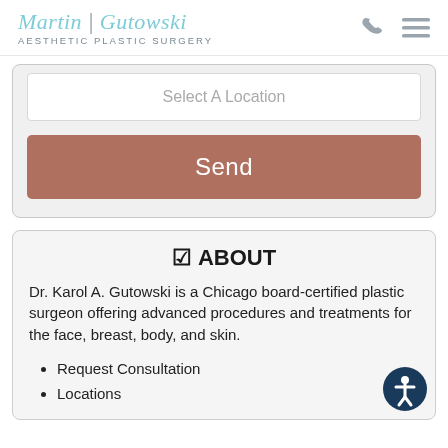[Figure (logo): Martin | Gutowski Aesthetic Plastic Surgery logo with teal italic serif text and gray subtitle]
Select A Location
Send
☑ ABOUT
Dr. Karol A. Gutowski is a Chicago board-certified plastic surgeon offering advanced procedures and treatments for the face, breast, body, and skin.
Request Consultation
Locations